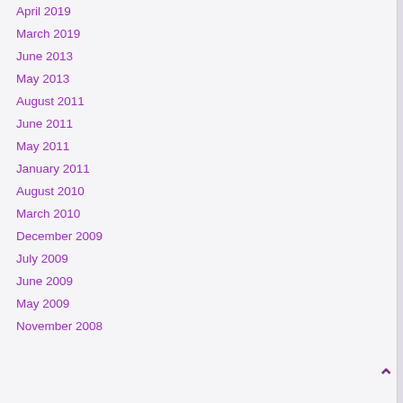April 2019
March 2019
June 2013
May 2013
August 2011
June 2011
May 2011
January 2011
August 2010
March 2010
December 2009
July 2009
June 2009
May 2009
November 2008